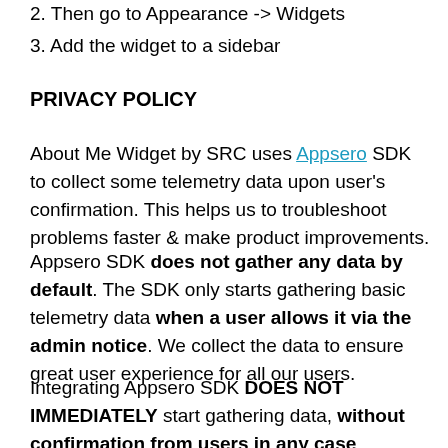2. Then go to Appearance -> Widgets
3. Add the widget to a sidebar
PRIVACY POLICY
About Me Widget by SRC uses Appsero SDK to collect some telemetry data upon user's confirmation. This helps us to troubleshoot problems faster & make product improvements.
Appsero SDK does not gather any data by default. The SDK only starts gathering basic telemetry data when a user allows it via the admin notice. We collect the data to ensure great user experience for all our users.
Integrating Appsero SDK DOES NOT IMMEDIATELY start gathering data, without confirmation from users in any case.